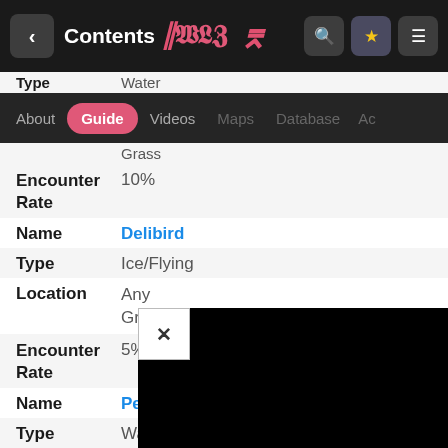Contents
About | Guide | Videos | Maps | Database | Ac...
| Field | Value |
| --- | --- |
| Encounter Rate | 10% |
| Name | Delibird |
| Type | Ice/Flying |
| Location | Any Grass |
| Encounter Rate | 5% |
| Name | Pelipper |
| Type | Water/Flying |
| Location | Any Grass |
| Encounter Rate | 10% |
| Name | Lunatone |